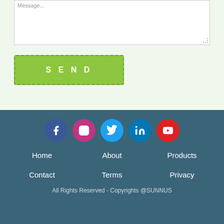[Figure (screenshot): A textarea/message input box with a dotted border on a light green background, partially visible at the top of the page]
SEND
[Figure (infographic): Footer with social media icons (Facebook, Instagram, Twitter, LinkedIn, YouTube) on a dark teal background]
Home
About
Products
Contact
Terms
Privacy
All Rights Reserved - Copyrights @SUNNUS